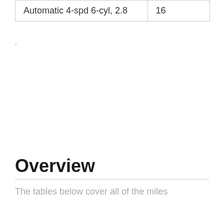| Automatic 4-spd 6-cyl, 2.8 | 16 |
Overview
The tables below cover all of the miles